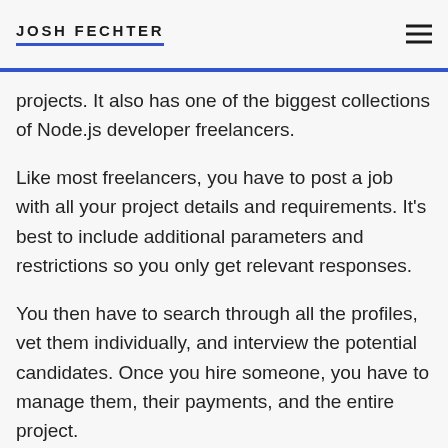JOSH FECHTER
projects. It also has one of the biggest collections of Node.js developer freelancers.
Like most freelancers, you have to post a job with all your project details and requirements. It's best to include additional parameters and restrictions so you only get relevant responses.
You then have to search through all the profiles, vet them individually, and interview the potential candidates. Once you hire someone, you have to manage them, their payments, and the entire project.